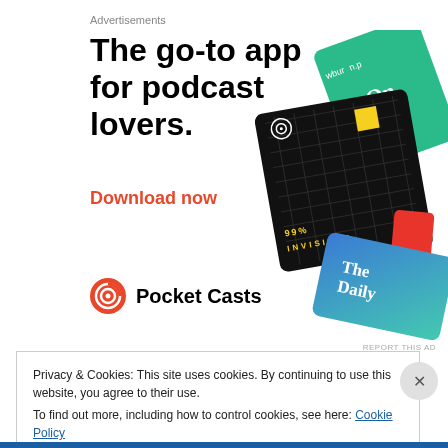Advertisements
The go-to app for podcast lovers.
Download now
[Figure (illustration): Pocket Casts app advertisement showing podcast artwork cards including 99% Invisible (black card with yellow square and grid), The Daily (blue gradient card), and other podcast cards on a white background.]
Pocket Casts
REPORT THIS AD
Privacy & Cookies: This site uses cookies. By continuing to use this website, you agree to their use.
To find out more, including how to control cookies, see here: Cookie Policy
Close and accept